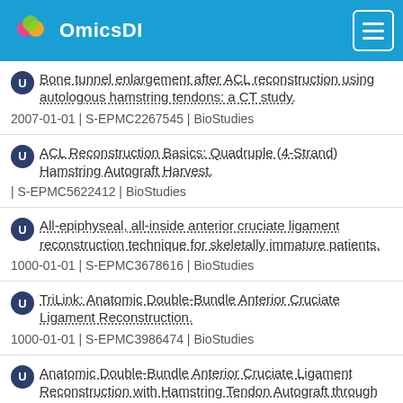OmicsDI
Bone tunnel enlargement after ACL reconstruction using autologous hamstring tendons: a CT study.
2007-01-01 | S-EPMC2267545 | BioStudies
ACL Reconstruction Basics: Quadruple (4-Strand) Hamstring Autograft Harvest.
| S-EPMC5622412 | BioStudies
All-epiphyseal, all-inside anterior cruciate ligament reconstruction technique for skeletally immature patients.
1000-01-01 | S-EPMC3678616 | BioStudies
TriLink: Anatomic Double-Bundle Anterior Cruciate Ligament Reconstruction.
1000-01-01 | S-EPMC3986474 | BioStudies
Anatomic Double-Bundle Anterior Cruciate Ligament Reconstruction with Hamstring Tendon Autograft through Single